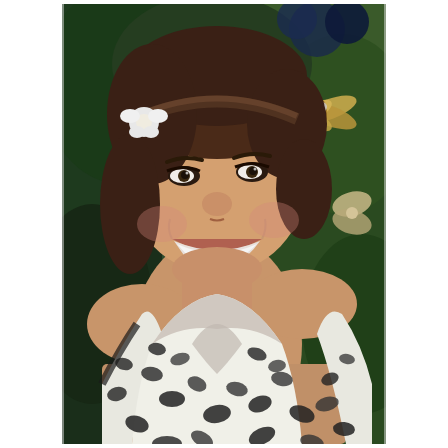[Figure (photo): A smiling woman with dark brown hair pulled back with a headband, wearing a black and white leopard print swimsuit or top. She appears to be outdoors with greenery in the background and some decorative elements including what looks like a gold dragonfly/bow decoration and dark balloons visible behind her.]